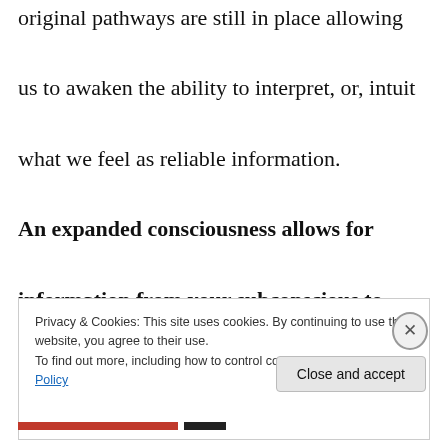original pathways are still in place allowing us to awaken the ability to interpret, or, intuit what we feel as reliable information.
An expanded consciousness allows for information from your subconscious to filter into your mind's intellect affirming
Privacy & Cookies: This site uses cookies. By continuing to use this website, you agree to their use.
To find out more, including how to control cookies, see here: Cookie Policy
Close and accept